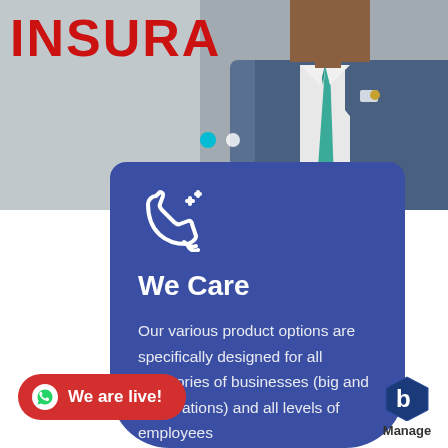[Figure (photo): Top banner showing a man in a blue suit with teal tie, wearing a pin, with partial red 'INSURA' text visible on the left, and two carousel dots (teal and white) in the middle area.]
We Care
Our various product options are specifically designed for all categories of businesses (big and corporations) and all levels of employees
[Figure (infographic): Red pill-shaped WhatsApp button with WhatsApp icon and text 'We are live!' on the bottom left.]
[Figure (logo): Manage app logo — hexagonal blue icon with letter B and 'Manage' text below, on bottom right.]